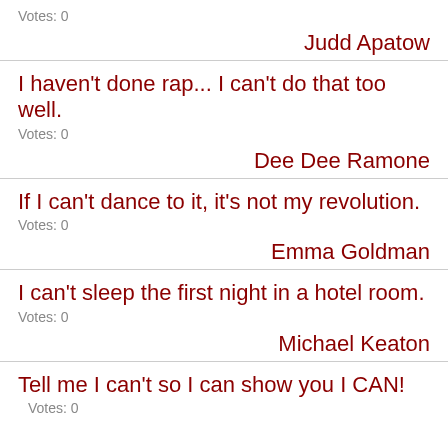Votes: 0
Judd Apatow
I haven't done rap... I can't do that too well.
Votes: 0
Dee Dee Ramone
If I can't dance to it, it's not my revolution.
Votes: 0
Emma Goldman
I can't sleep the first night in a hotel room.
Votes: 0
Michael Keaton
Tell me I can't so I can show you I CAN!  Votes: 0